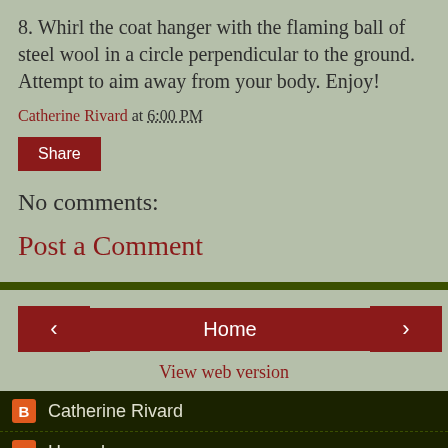8. Whirl the coat hanger with the flaming ball of steel wool in a circle perpendicular to the ground. Attempt to aim away from your body. Enjoy!
Catherine Rivard at 6:00 PM
Share
No comments:
Post a Comment
Home
View web version
Catherine Rivard
Hannah
Powered by Blogger.